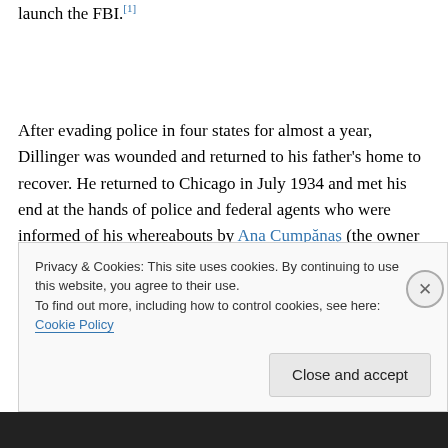launch the FBI.[1]
After evading police in four states for almost a year, Dillinger was wounded and returned to his father's home to recover. He returned to Chicago in July 1934 and met his end at the hands of police and federal agents who were informed of his whereabouts by Ana Cumpănaș (the owner of the brothel where Dillinger sought refuge at the
Privacy & Cookies: This site uses cookies. By continuing to use this website, you agree to their use.
To find out more, including how to control cookies, see here: Cookie Policy

Close and accept